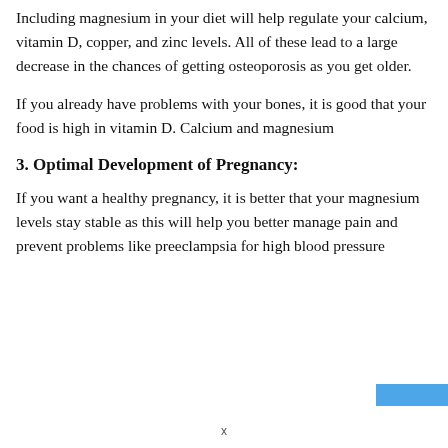Including magnesium in your diet will help regulate your calcium, vitamin D, copper, and zinc levels. All of these lead to a large decrease in the chances of getting osteoporosis as you get older.
If you already have problems with your bones, it is good that your food is high in vitamin D. Calcium and magnesium
3. Optimal Development of Pregnancy:
If you want a healthy pregnancy, it is better that your magnesium levels stay stable as this will help you better manage pain and prevent problems like preeclampsia for high blood pressure